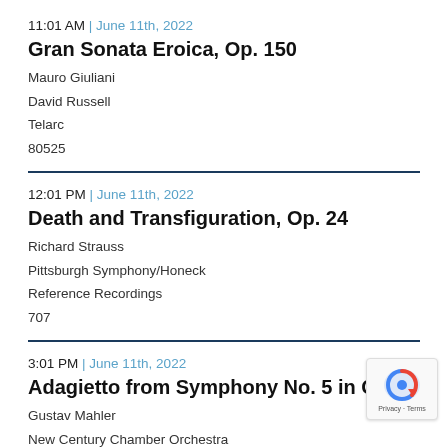11:01 AM | June 11th, 2022
Gran Sonata Eroica, Op. 150
Mauro Giuliani
David Russell
Telarc
80525
12:01 PM | June 11th, 2022
Death and Transfiguration, Op. 24
Richard Strauss
Pittsburgh Symphony/Honeck
Reference Recordings
707
3:01 PM | June 11th, 2022
Adagietto from Symphony No. 5 in C sharp min
Gustav Mahler
New Century Chamber Orchestra